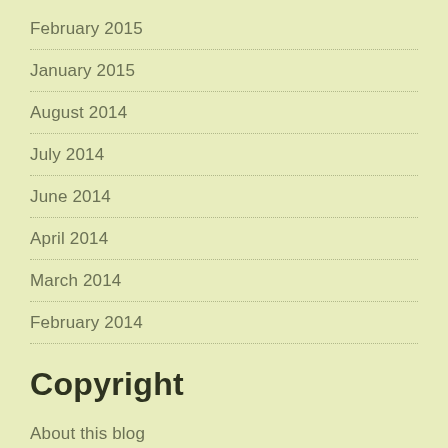February 2015
January 2015
August 2014
July 2014
June 2014
April 2014
March 2014
February 2014
Copyright
About this blog
Books to read, to learn, to love